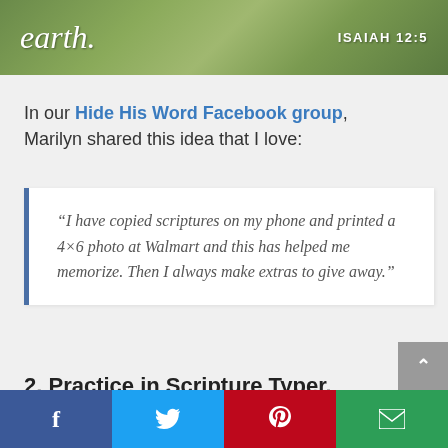[Figure (photo): Green leafy plant background banner with italic text 'earth.' on the left and 'ISAIAH 12:5' on the right in white text]
In our Hide His Word Facebook group, Marilyn shared this idea that I love:
“I have copied scriptures on my phone and printed a 4×6 photo at Walmart and this has helped me memorize. Then I always make extras to give away.”
2. Practice in Scripture Typer.
f  [twitter bird]  P  [envelope]